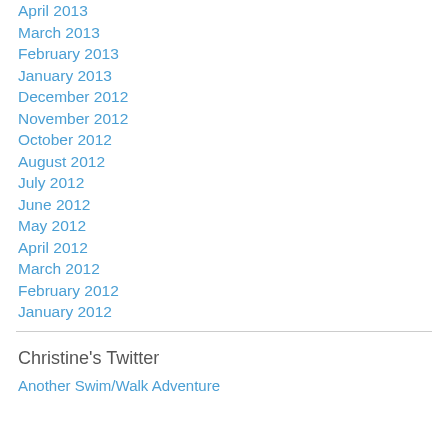April 2013
March 2013
February 2013
January 2013
December 2012
November 2012
October 2012
August 2012
July 2012
June 2012
May 2012
April 2012
March 2012
February 2012
January 2012
Christine's Twitter
Another Swim/Walk Adventure